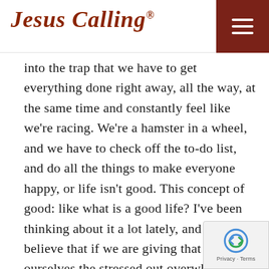Jesus Calling®
into the trap that we have to get everything done right away, all the way, at the same time and constantly feel like we're racing. We're a hamster in a wheel, and we have to check off the to-do list, and do all the things to make everyone happy, or life isn't good. This concept of good: like what is a good life? I've been thinking about it a lot lately, and I really believe that if we are giving that part of ourselves the stressed out overwhelmed part of ourselves to our kids, to our spouses, to our communities; there's